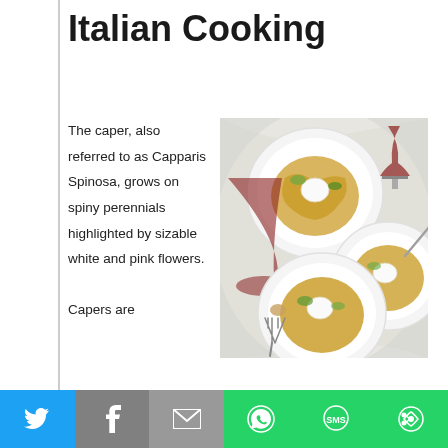Italian Cooking
The caper, also referred to as Capparis Spinosa, grows on spiny perennials highlighted by sizable white and pink flowers. Capers are
[Figure (photo): Overhead photo of three plates of pasta with red wine glasses and a fork on a white cloth background]
Twitter | Facebook | Email | WhatsApp | SMS | More